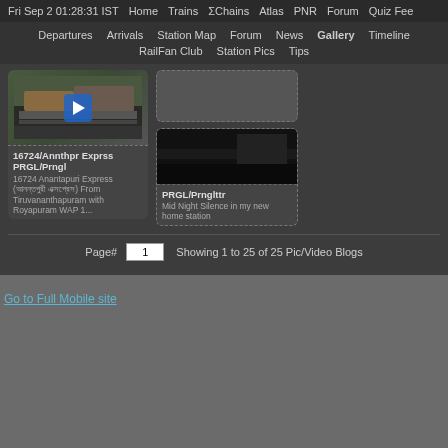Fri Sep 2 01:28:31 IST  Home  Trains  ΣChains  Atlas  PNR  Forum  Quiz Fee
Departures  Arrivals  Station Map  Forum  News  Gallery  Timeline  RailFan Club  Station Pics  Tips
[Figure (screenshot): Video thumbnail of train at station with play button overlay]
16724/Annthpr Exprss PRGL/Prngl 16724 Anantapuri Express (আনন্তপুরি এক্সপ্রেস) From Tiruvananthapuram with Royapuram WAP 1...
[Figure (photo): Dark station photo - night scene]
PRGL/Prnglttr Mid Night Silence in my new home station
Page#  1   Showing 1 to 25 of 25 Pic/Video Blogs
Go to Full Mobile site